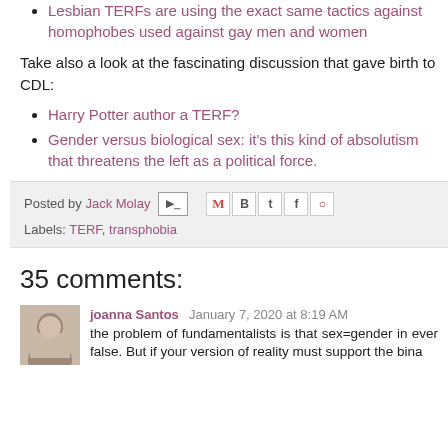Lesbian TERFs are using the exact same tactics against homophobes used against gay men and women
Take also a look at the fascinating discussion that gave birth to CDL:
Harry Potter author a TERF?
Gender versus biological sex: it's this kind of absolutism that threatens the left as a political force.
Posted by Jack Molay   Labels: TERF, transphobia
35 comments:
joanna Santos   January 7, 2020 at 8:19 AM
the problem of fundamentalists is that sex=gender in ever false. But if your version of reality must support the bina